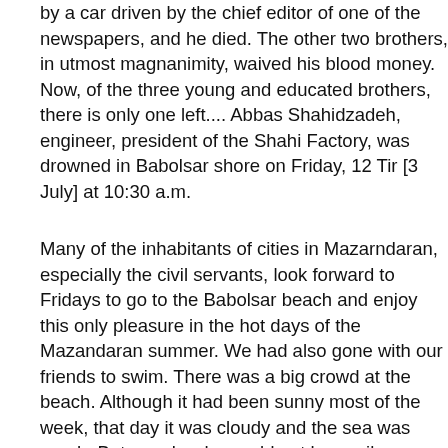by a car driven by the chief editor of one of the newspapers, and he died. The other two brothers, in utmost magnanimity, waived his blood money. Now, of the three young and educated brothers, there is only one left.... Abbas Shahidzadeh, engineer, president of the Shahi Factory, was drowned in Babolsar shore on Friday, 12 Tir [3 July] at 10:30 a.m.
Many of the inhabitants of cities in Mazarndaran, especially the civil servants, look forward to Fridays to go to the Babolsar beach and enjoy this only pleasure in the hot days of the Mazandaran summer. We had also gone with our friends to swim. There was a big crowd at the beach. Although it had been sunny most of the week, that day it was cloudy and the sea was rough. But people who could not be easily persuaded to forgo their fun, especially because it was the anniversary of the birth of the 12th Imam, were busy swimming. We, too, had taken off our clothes and were having fun. Close to us, a young man was rescued from drowning. He was taken to town in our car, which was